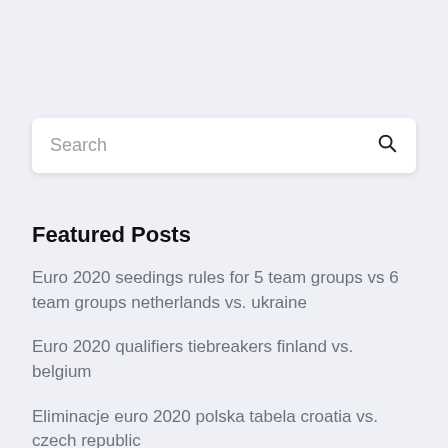Search
Featured Posts
Euro 2020 seedings rules for 5 team groups vs 6 team groups netherlands vs. ukraine
Euro 2020 qualifiers tiebreakers finland vs. belgium
Eliminacje euro 2020 polska tabela croatia vs. czech republic
Tf1 belgique euro 2020 england vs. croatia